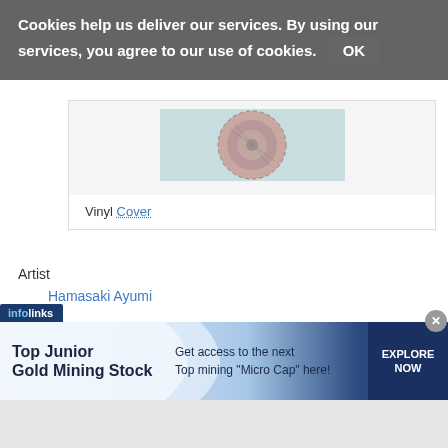Cookies help us deliver our services. By using our services, you agree to our use of cookies. OK
[Figure (photo): Vinyl record cover image partially visible - shows circular vinyl record with pinkish label]
Vinyl Cover
Artist
Hamasaki Ayumi
Vinyl
Trust
Released
[Figure (screenshot): Infolinks advertisement banner: Top Junior Gold Mining Stock - Get access to the next Top mining 'Micro Cap' here! EXPLORE NOW]